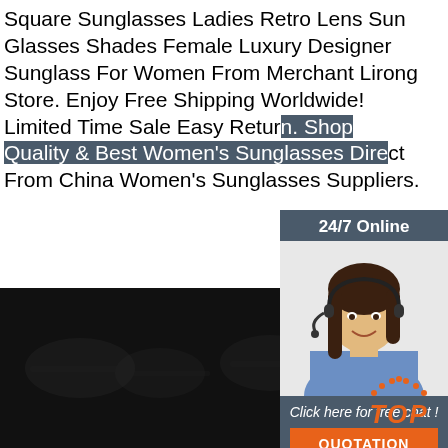Square Sunglasses Ladies Retro Lens Sun Glasses Shades Female Luxury Designer Sunglass For Women From Merchant Lirong Store. Enjoy Free Shipping Worldwide! Limited Time Sale Easy Return. Shop Quality & Best Women's Sunglasses Direct From China Women's Sunglasses Suppliers.
Get Price
[Figure (infographic): Customer service chat widget with '24/7 Online' header, photo of woman with headset, 'Click here for free chat!' text, and orange QUOTATION button]
[Figure (illustration): Dark bottom section with faint product silhouettes and orange TOP icon in bottom right corner]